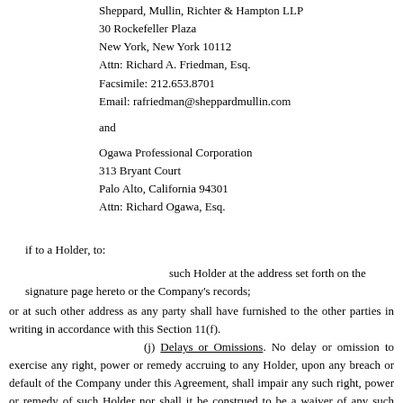Sheppard, Mullin, Richter & Hampton LLP
30 Rockefeller Plaza
New York, New York 10112
Attn: Richard A. Friedman, Esq.
Facsimile: 212.653.8701
Email: rafriedman@sheppardmullin.com
and
Ogawa Professional Corporation
313 Bryant Court
Palo Alto, California 94301
Attn: Richard Ogawa, Esq.
if to a Holder, to:
such Holder at the address set forth on the signature page hereto or the Company's records;
or at such other address as any party shall have furnished to the other parties in writing in accordance with this Section 11(f).
(j) Delays or Omissions. No delay or omission to exercise any right, power or remedy accruing to any Holder, upon any breach or default of the Company under this Agreement, shall impair any such right, power or remedy of such Holder nor shall it be construed to be a waiver of any such breach or default, or an acquiescence therein, or of any similar breach or default